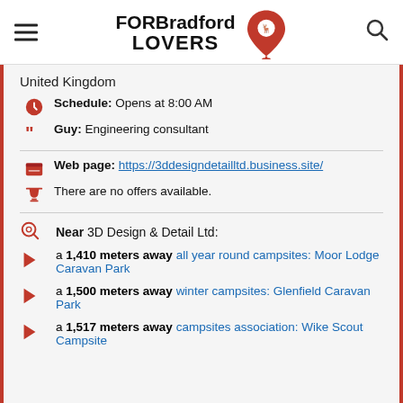[Figure (logo): FOR Bradford LOVERS logo with red map pin icon]
United Kingdom
Schedule: Opens at 8:00 AM
Guy: Engineering consultant
Web page: https://3ddesigndetailltd.business.site/
There are no offers available.
Near 3D Design & Detail Ltd:
a 1,410 meters away all year round campsites: Moor Lodge Caravan Park
a 1,500 meters away winter campsites: Glenfield Caravan Park
a 1,517 meters away campsites association: Wike Scout Campsite